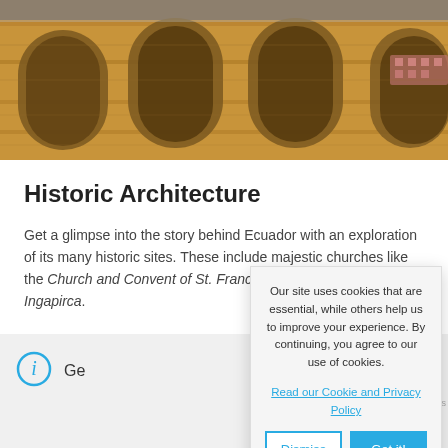[Figure (photo): Exterior photo of a historic stone church/cathedral with ornate arched windows and warm golden-brown stone facade, taken from below looking up.]
Historic Architecture
Get a glimpse into the story behind Ecuador with an exploration of its many historic sites. These include majestic churches like the Church and Convent of St. Francis in Quito and the ruins of Ingapirca.
Our site uses cookies that are essential, while others help us to improve your experience. By continuing, you agree to our use of cookies.
Read our Cookie and Privacy Policy
Dismiss
Got it!
Ge